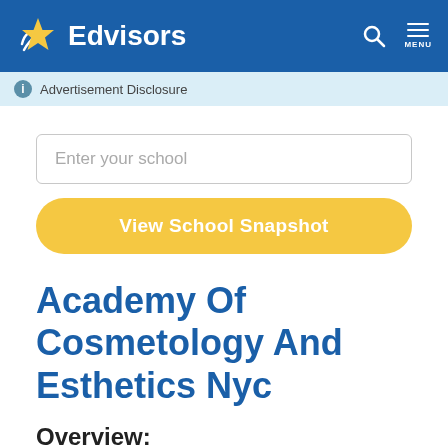Edvisors
Advertisement Disclosure
Enter your school
View School Snapshot
Academy Of Cosmetology And Esthetics Nyc
Overview:
http://paulmitchell.edu/nyc